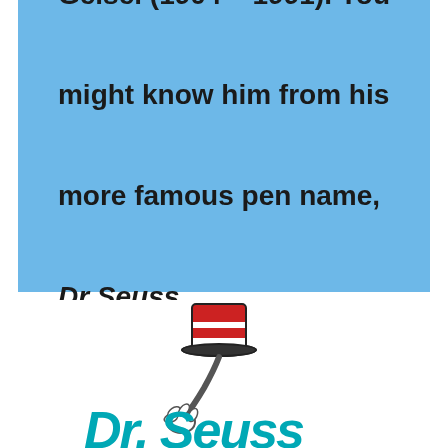Geisel (1904 – 1991). You might know him from his more famous pen name, Dr Seuss.
[Figure (logo): Dr. Seuss logo: the Cat in the Hat hand holding a red and white striped tall hat, above teal/blue stylized 'Dr. Seuss' text lettering, partially cropped at bottom.]